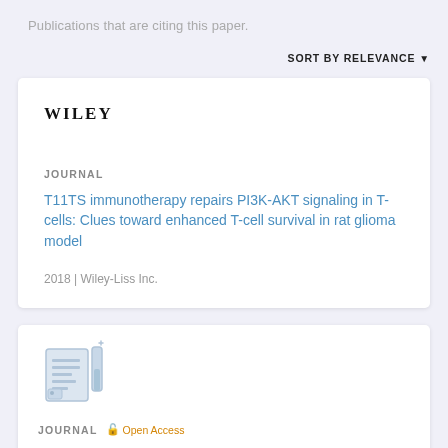Publications that are citing this paper.
SORT BY RELEVANCE
[Figure (logo): Wiley publisher logo in bold serif uppercase text]
JOURNAL
T11TS immunotherapy repairs PI3K-AKT signaling in T-cells: Clues toward enhanced T-cell survival in rat glioma model
2018 | Wiley-Liss Inc.
[Figure (illustration): Generic journal article icon with document and test tube graphic]
JOURNAL   Open Access
Genetic and functional characterization of HIV-1 Vif on APOBEC3G degradation: First report of emergence of B/C recombinants from North India